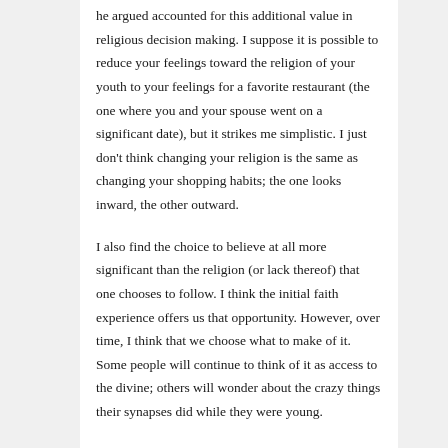he argued accounted for this additional value in religious decision making. I suppose it is possible to reduce your feelings toward the religion of your youth to your feelings for a favorite restaurant (the one where you and your spouse went on a significant date), but it strikes me simplistic. I just don't think changing your religion is the same as changing your shopping habits; the one looks inward, the other outward.
I also find the choice to believe at all more significant than the religion (or lack thereof) that one chooses to follow. I think the initial faith experience offers us that opportunity. However, over time, I think that we choose what to make of it. Some people will continue to think of it as access to the divine; others will wonder about the crazy things their synapses did while they were young.
chanson,